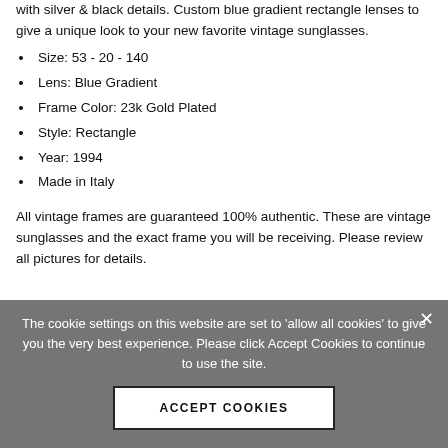with silver & black details. Custom blue gradient rectangle lenses to give a unique look to your new favorite vintage sunglasses.
Size: 53 - 20 - 140
Lens: Blue Gradient
Frame Color: 23k Gold Plated
Style: Rectangle
Year: 1994
Made in Italy
All vintage frames are guaranteed 100% authentic. These are vintage sunglasses and the exact frame you will be receiving. Please review all pictures for details.
The cookie settings on this website are set to 'allow all cookies' to give you the very best experience. Please click Accept Cookies to continue to use the site.
ACCEPT COOKIES